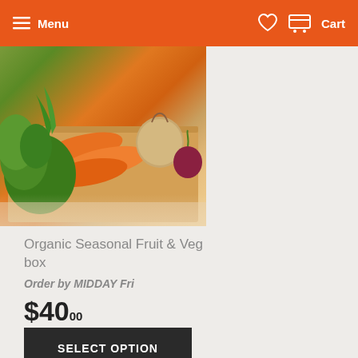Menu | Cart
[Figure (photo): Photo of a wooden box filled with fresh vegetables including carrots, herbs, onions, and other produce]
Organic Seasonal Fruit & Veg box
Order by MIDDAY Fri
$40.00
SELECT OPTION